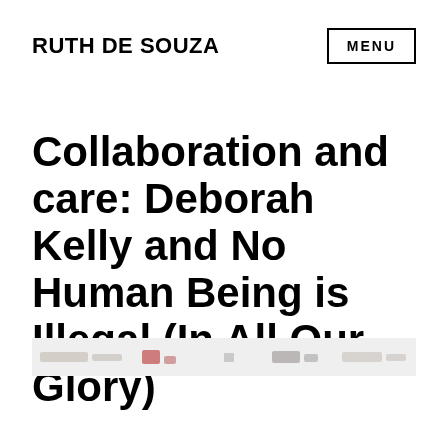RUTH DE SOUZA
MENU
Collaboration and care: Deborah Kelly and No Human Being is Illegal (In All Our Glory)
[Figure (photo): A horizontal strip showing a partially visible image, likely a photograph related to the article content, appearing as a light gray bar with faint marks.]